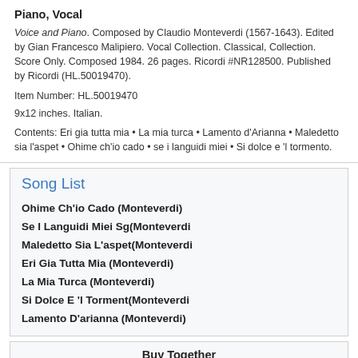Piano, Vocal
Voice and Piano. Composed by Claudio Monteverdi (1567-1643). Edited by Gian Francesco Malipiero. Vocal Collection. Classical, Collection. Score Only. Composed 1984. 26 pages. Ricordi #NR128500. Published by Ricordi (HL.50019470).
Item Number: HL.50019470
9x12 inches. Italian.
Contents: Eri gia tutta mia • La mia turca • Lamento d'Arianna • Maledetto sia l'aspet • Ohime ch'io cado • se i languidi miei • Si dolce e 'l tormento.
Song List
Ohime Ch'io Cado (Monteverdi)
Se I Languidi Miei Sg(Monteverdi
Maledetto Sia L'aspet(Monteverdi
Eri Gia Tutta Mia (Monteverdi)
La Mia Turca (Monteverdi)
Si Dolce E 'l Torment(Monteverdi
Lamento D'arianna (Monteverdi)
Buy Together